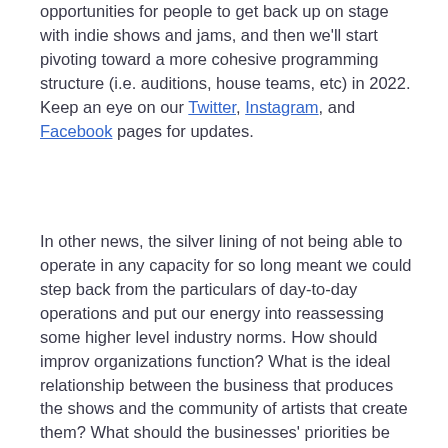opportunities for people to get back up on stage with indie shows and jams, and then we'll start pivoting toward a more cohesive programming structure (i.e. auditions, house teams, etc) in 2022. Keep an eye on our Twitter, Instagram, and Facebook pages for updates.
In other news, the silver lining of not being able to operate in any capacity for so long meant we could step back from the particulars of day-to-day operations and put our energy into reassessing some higher level industry norms. How should improv organizations function? What is the ideal relationship between the business that produces the shows and the community of artists that create them? What should the businesses' priorities be when managing profits and